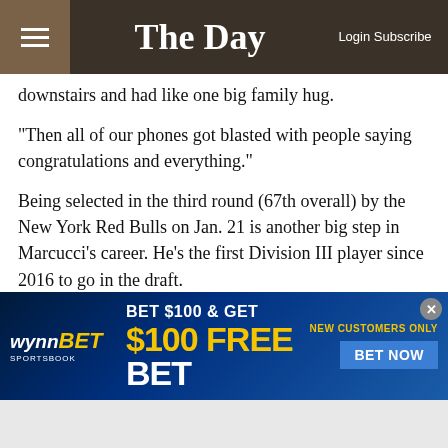The Day | Login Subscribe
downstairs and had like one big family hug.
"Then all of our phones got blasted with people saying congratulations and everything."
Being selected in the third round (67th overall) by the New York Red Bulls on Jan. 21 is another big step in Marcucci's career. He's the first Division III player since 2016 to go in the draft.
Marcucci's ultimate goal is to play Major League Soccer, not just get drafted.
[Figure (infographic): WynnBET Sportsbook advertisement: BET $100 & GET $100 FREE BET — NEW CUSTOMERS ONLY — BET NOW button]